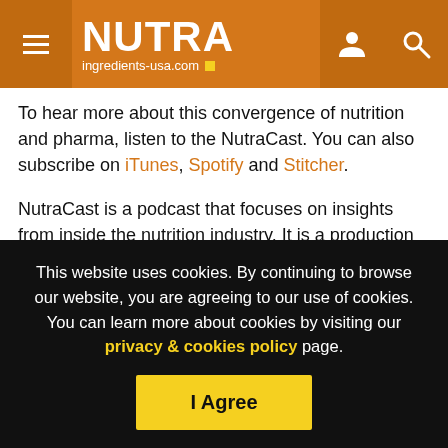NUTRA ingredients-usa.com
To hear more about this convergence of nutrition and pharma, listen to the NutraCast. You can also subscribe on iTunes, Spotify and Stitcher.
NutraCast is a podcast that focuses on insights from inside the nutrition industry. It is a production by NutraIngredients-USA. Music by Kevin Macleod.
Do you have a topic that you want to hear on the NutraCast? Email danielle.masterson@wrbm.com.
This website uses cookies. By continuing to browse our website, you are agreeing to our use of cookies. You can learn more about cookies by visiting our privacy & cookies policy page.